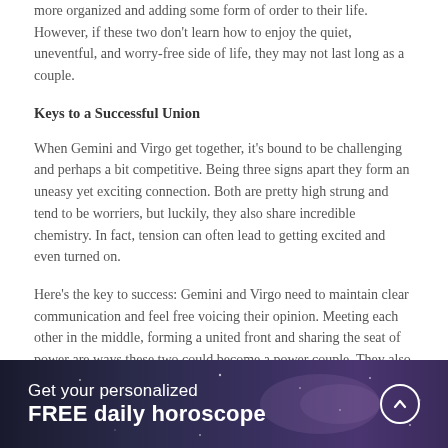more organized and adding some form of order to their life. However, if these two don't learn how to enjoy the quiet, uneventful, and worry-free side of life, they may not last long as a couple.
Keys to a Successful Union
When Gemini and Virgo get together, it's bound to be challenging and perhaps a bit competitive. Being three signs apart they form an uneasy yet exciting connection. Both are pretty high strung and tend to be worriers, but luckily, they also share incredible chemistry. In fact, tension can often lead to getting excited and even turned on.
Here's the key to success: Gemini and Virgo need to maintain clear communication and feel free voicing their opinion. Meeting each other in the middle, forming a united front and sharing the seat of power are ways these two could become a power couple. They also have to work at keeping the love
Get your personalized FREE daily horoscope